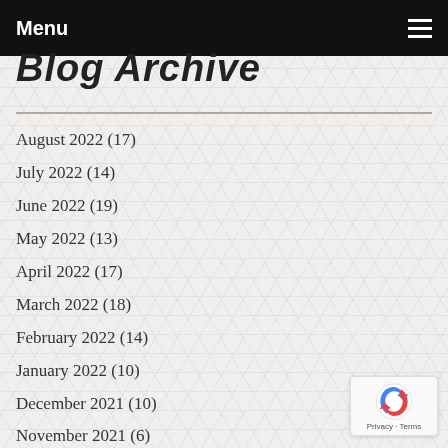Menu
Blog Archive
August 2022 (17)
July 2022 (14)
June 2022 (19)
May 2022 (13)
April 2022 (17)
March 2022 (18)
February 2022 (14)
January 2022 (10)
December 2021 (10)
November 2021 (6)
October 2021 (20)
September 2021 (9)
August 2021 (5)